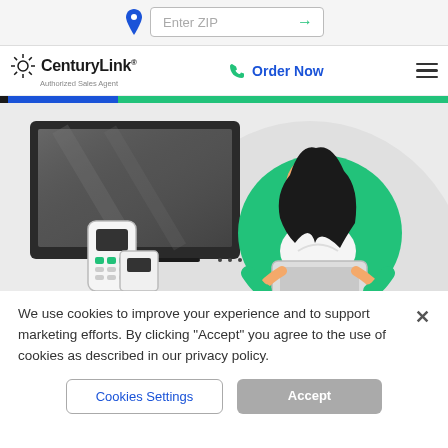Enter ZIP
[Figure (logo): CenturyLink Authorized Sales Agent logo with sunburst icon]
Order Now
[Figure (illustration): Hero illustration showing a woman sitting in a green chair using a laptop, with a TV and cordless phone nearby]
We use cookies to improve your experience and to support marketing efforts. By clicking "Accept" you agree to the use of cookies as described in our privacy policy.
Cookies Settings
Accept